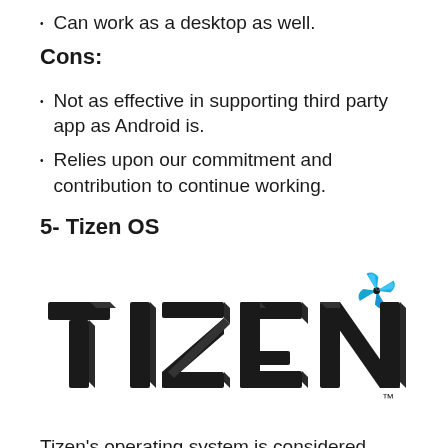Can work as a desktop as well.
Cons:
Not as effective in supporting third party app as Android is.
Relies upon our commitment and contribution to continue working.
5- Tizen OS
[Figure (logo): Tizen OS logo with large bold black 3D letters 'TIZEN' and a blue pinwheel star icon in the upper right, with TM trademark symbol]
Tizen's operating system is considered quite apt for serving different specific needs of